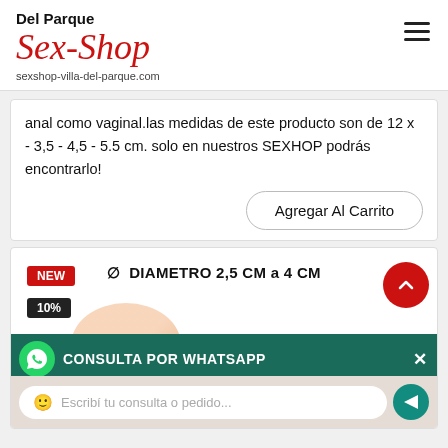Del Parque Sex-Shop sexshop-villa-del-parque.com
anal como vaginal.las medidas de este producto son de 12 x - 3,5 - 4,5 - 5.5 cm. solo en nuestros SEXHOP podrás encontrarlo!
Agregar Al Carrito
NEW
10%
∅  DIAMETRO 2,5 CM a 4 CM
CONSULTA POR WHATSAPP
Escribí tu consulta o pedido...